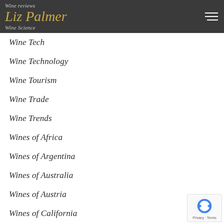Wine reviews | Liz Palmer | Wine Science
Wine Tech
Wine Technology
Wine Tourism
Wine Trade
Wine Trends
Wines of Africa
Wines of Argentina
Wines of Australia
Wines of Austria
Wines of California